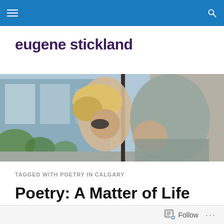eugene stickland - navigation bar
eugene stickland
[Figure (photo): Outdoor photograph showing a blonde woman and a man leaning together, with an urban building and greenery in the background]
TAGGED WITH POETRY IN CALGARY
Poetry: A Matter of Life or Death
Follow ...